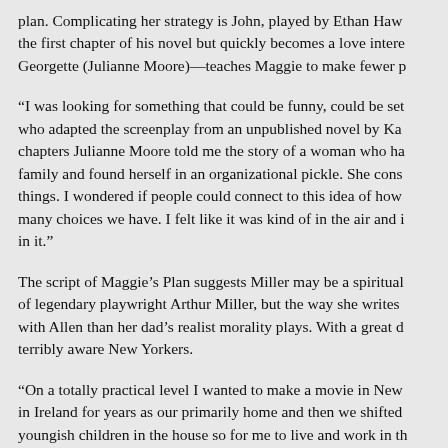plan. Complicating her strategy is John, played by Ethan Haw the first chapter of his novel but quickly becomes a love intere Georgette (Julianne Moore)—teaches Maggie to make fewer p
“I was looking for something that could be funny, could be set who adapted the screenplay from an unpublished novel by Ka chapters Julianne Moore told me the story of a woman who ha family and found herself in an organizational pickle. She cons things. I wondered if people could connect to this idea of how many choices we have. I felt like it was kind of in the air and i in it.”
The script of Maggie’s Plan suggests Miller may be a spiritual of legendary playwright Arthur Miller, but the way she writes with Allen than her dad’s realist morality plays. With a great d terribly aware New Yorkers.
“On a totally practical level I wanted to make a movie in New in Ireland for years as our primarily home and then we shifted youngish children in the house so for me to live and work in th